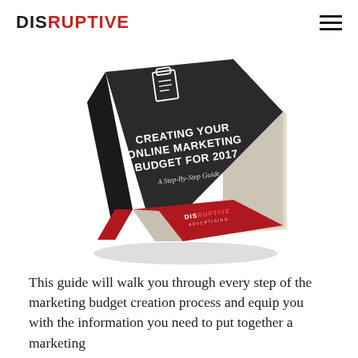DISRUPTIVE
[Figure (illustration): 3D book mockup titled 'Creating Your Online Marketing Budget for 2017 – A Step-By-Step Guide' with Disruptive Advertising branding on the cover. Dark cover with red stripe at the bottom.]
This guide will walk you through every step of the marketing budget creation process and equip you with the information you need to put together a marketing